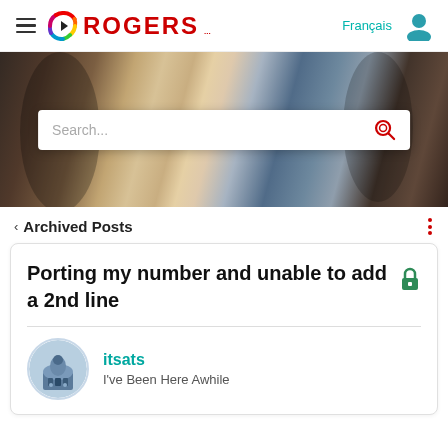Rogers — Français | user icon
[Figure (screenshot): Hero banner with people in an urban setting and a search bar overlay]
< Archived Posts
Porting my number and unable to add a 2nd line
itsats — I've Been Here Awhile